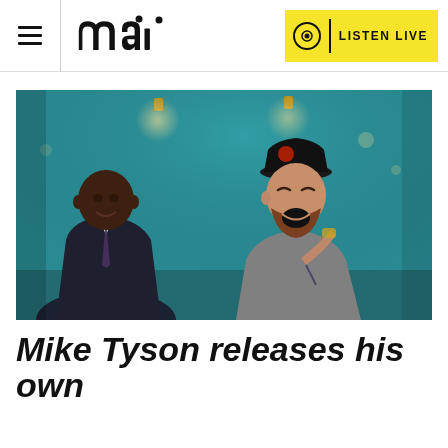mai | LISTEN LIVE
[Figure (photo): Mike Tyson and Conor McGregor laughing together indoors against a teal wall with ceiling spotlights. Tyson on left in dark suit and tie, McGregor on right in grey sweater and black cap.]
Mike Tyson releases his own